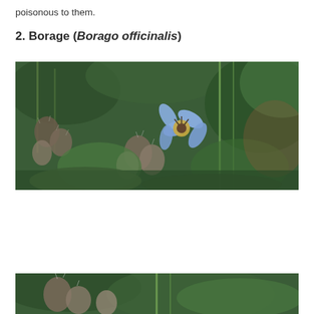poisonous to them.
2. Borage (Borago officinalis)
[Figure (photo): Close-up photograph of a borage plant (Borago officinalis) showing its distinctive star-shaped blue/purple flower with pointed petals, surrounded by hairy green buds and stems with green foliage in the background.]
[Figure (photo): Partial view of another borage plant photograph, showing hairy green buds and stems, similar to the image above, cropped at the bottom of the page.]